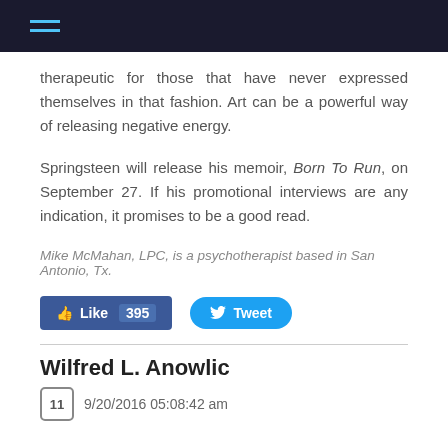≡ (navigation menu icon)
therapeutic for those that have never expressed themselves in that fashion. Art can be a powerful way of releasing negative energy.
Springsteen will release his memoir, Born To Run, on September 27. If his promotional interviews are any indication, it promises to be a good read.
Mike McMahan, LPC, is a psychotherapist based in San Antonio, Tx.
[Figure (screenshot): Facebook Like button with count 395 and Twitter Tweet button]
Wilfred L. Anowlic
9/20/2016 05:08:42 am